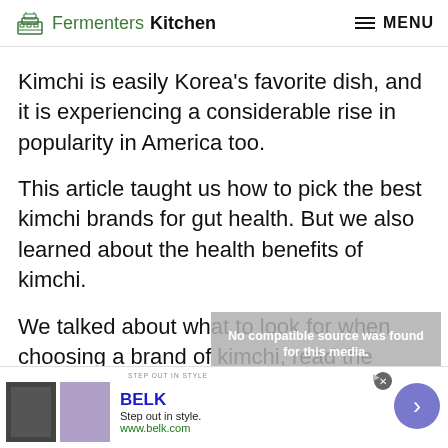Fermenters Kitchen  MENU
Kimchi is easily Korea’s favorite dish, and it is experiencing a considerable rise in popularity in America too.
This article taught us how to pick the best kimchi brands for gut health. But we also learned about the health benefits of kimchi.
We talked about what to look for when choosing a brand of kimchi, read the ingredients list, keywords on the label, and where it is located in the grocery
[Figure (screenshot): Video player overlay showing 'No compatible source was found for this media.' error message with semi-transparent grey background]
STEP OUT IN STYLE  BELK  Step out in style.  www.belk.com